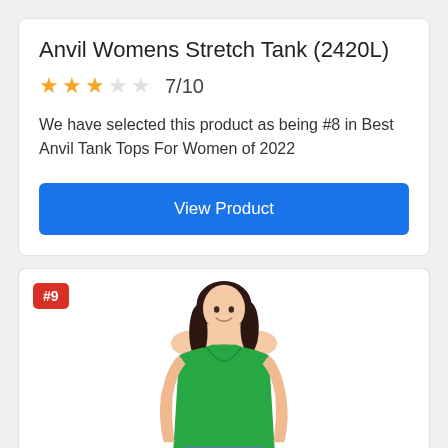Anvil Womens Stretch Tank (2420L)
★★★☆☆ 7/10
We have selected this product as being #8 in Best Anvil Tank Tops For Women of 2022
View Product
[Figure (photo): Woman wearing a green Anvil stretch tank top, shown from shoulders to waist, with dark hair. Badge showing #9 in top-left corner.]